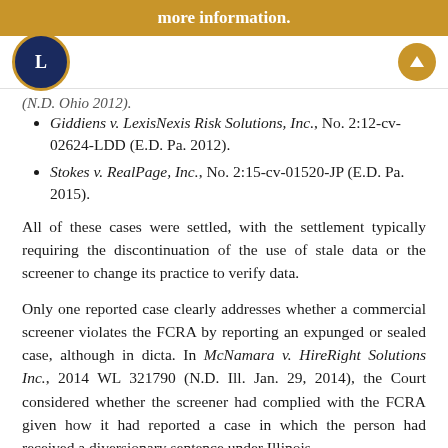more information.
Giddiens v. LexisNexis Risk Solutions, Inc., No. 2:12-cv-02624-LDD (E.D. Pa. 2012).
Stokes v. RealPage, Inc., No. 2:15-cv-01520-JP (E.D. Pa. 2015).
All of these cases were settled, with the settlement typically requiring the discontinuation of the use of stale data or the screener to change its practice to verify data.
Only one reported case clearly addresses whether a commercial screener violates the FCRA by reporting an expunged or sealed case, although in dicta. In McNamara v. HireRight Solutions Inc., 2014 WL 321790 (N.D. Ill. Jan. 29, 2014), the Court considered whether the screener had complied with the FCRA given how it had reported a case in which the person had received a diversionary sentence under Illinois